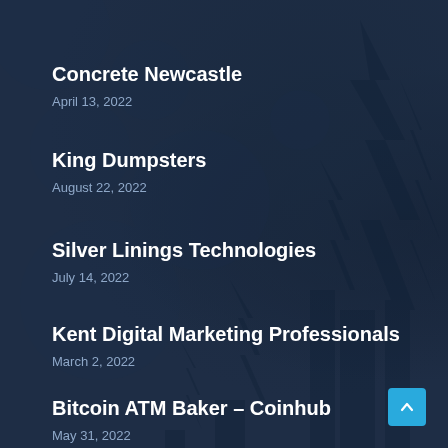Concrete Newcastle
April 13, 2022
King Dumpsters
August 22, 2022
Silver Linings Technologies
July 14, 2022
Kent Digital Marketing Professionals
March 2, 2022
Bitcoin ATM Baker – Coinhub
May 31, 2022